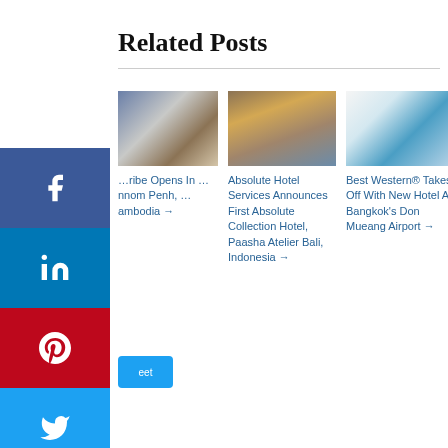Related Posts
[Figure (photo): Hotel room with robe hanging on wall]
…ribe Opens In …nnom Penh, …ambodia →
[Figure (photo): Hotel courtyard with pool reflection]
Absolute Hotel Services Announces First Absolute Collection Hotel, Paasha Atelier Bali, Indonesia →
[Figure (photo): Modern hotel lobby with circular ceiling lights]
Best Western® Takes Off With New Hotel At Bangkok's Don Mueang Airport →
[Figure (photo): Bangkok skyline at sunset with tall skyscraper]
The Stan… Bangkok Mahanak… Officially… as Globa… Asia Fla…